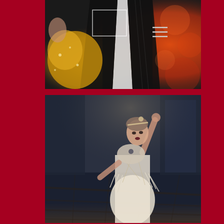[Figure (photo): Two dancers in performance costumes — one in a gold sequined outfit, one in a tuxedo — against a glittering red/orange bokeh background]
[Figure (photo): Woman in an Art Deco style beaded white fringe dress with headpiece, posed with arm raised, against a dark moody ballroom background. An overlaid vertical white-bordered box contains the text 'ART DECO' in large bold serif letters.]
ART DECO